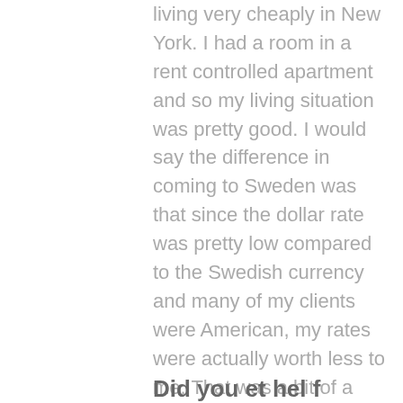living very cheaply in New York. I had a room in a rent controlled apartment and so my living situation was pretty good. I would say the difference in coming to Sweden was that since the dollar rate was pretty low compared to the Swedish currency and many of my clients were American, my rates were actually worth less to me. That was a bit of a transition and I actually had to start pushing my prices upwards in order to make it work.
Did you et hel f